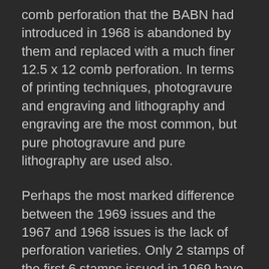comb perforation that the BABN had introduced in 1968 is abandoned by them and replaced with a much finer 12.5 x 12 comb perforation. In terms of printing techniques, photogravure and engraving and lithography and engraving are the most common, but pure photogravure and pure lithography are used also.
Perhaps the most marked difference between the 1969 issues and the 1967 and 1968 issues is the lack of perforation varieties. Only 2 stamps of the first 6 stamps issued in 1969 have four variations of the the 11.85 or 11.95 line perforation. The remaining stamps are all only known in a single perforation. This is also the first year in which there are almost no shade varieties, except for the few that are found on the Suzor Cote stamp.
There are also very few constant plate varieties listed in Unitrade, though there are a few unlisted ones, which I illustrate in the post. As was the case in 1968, the stamps of